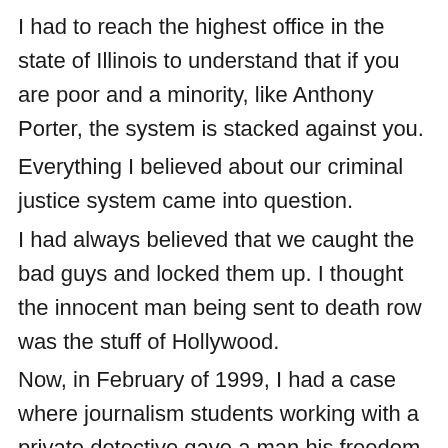I had to reach the highest office in the state of Illinois to understand that if you are poor and a minority, like Anthony Porter, the system is stacked against you. Everything I believed about our criminal justice system came into question. I had always believed that we caught the bad guys and locked them up. I thought the innocent man being sent to death row was the stuff of Hollywood. Now, in February of 1999, I had a case where journalism students working with a private detective gave a man his freedom. Had it not